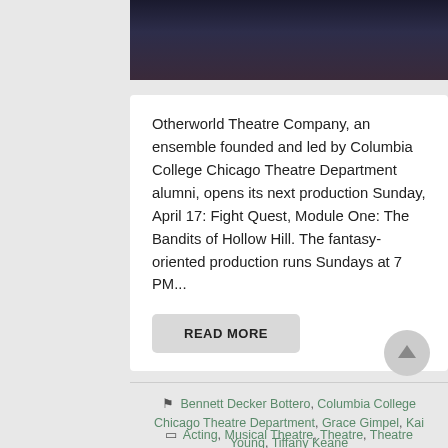[Figure (photo): Dark photo of people on stage, partially cropped at top]
Otherworld Theatre Company, an ensemble founded and led by Columbia College Chicago Theatre Department alumni, opens its next production Sunday, April 17: Fight Quest, Module One: The Bandits of Hollow Hill. The fantasy-oriented production runs Sundays at 7 PM...
READ MORE
Bennett Decker Bottero, Columbia College Chicago Theatre Department, Grace Gimpel, Kai Young, Tiffany Keane
Acting, Musical Theatre, Theatre, Theatre